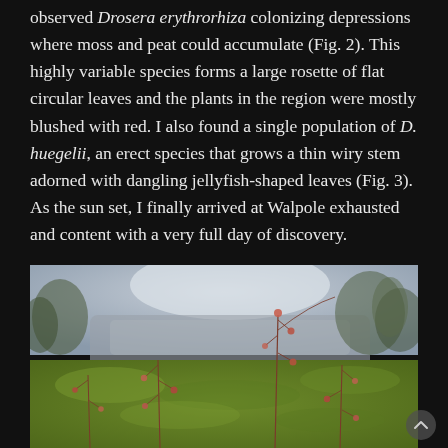…I would discover at every step. At most locations, I observed Drosera erythrorhiza colonizing depressions where moss and peat could accumulate (Fig. 2). This highly variable species forms a large rosette of flat circular leaves and the plants in the region were mostly blushed with red. I also found a single population of D. huegelii, an erect species that grows a thin wiry stem adorned with dangling jellyfish-shaped leaves (Fig. 3). As the sun set, I finally arrived at Walpole exhausted and content with a very full day of discovery.
[Figure (photo): Photograph of Drosera huegelii plants with thin wiry stems and small jellyfish-shaped leaves growing in green moss, with a blurred rocky and tree landscape in the background.]